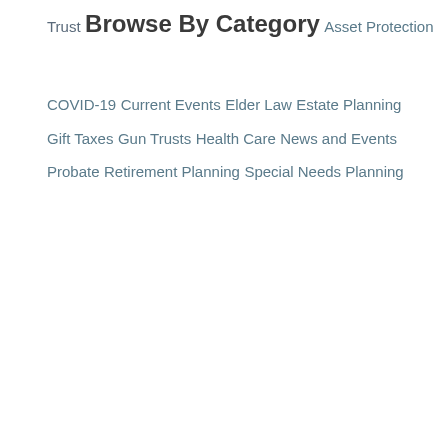Trust
Browse By Category
Asset Protection
COVID-19
Current Events
Elder Law
Estate Planning
Gift Taxes
Gun Trusts
Health Care
News and Events
Probate
Retirement Planning
Special Needs Planning